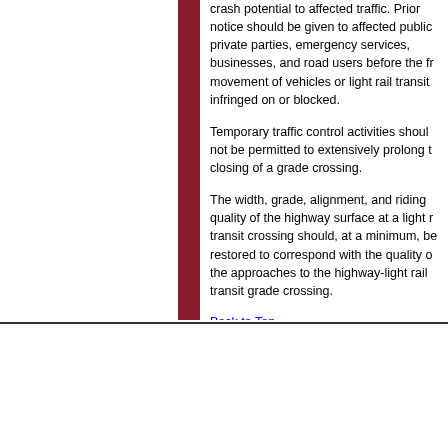crash potential to affected traffic. Prior notice should be given to affected public private parties, emergency services, businesses, and road users before the free movement of vehicles or light rail transit is infringed on or blocked.
Temporary traffic control activities should not be permitted to extensively prolong the closing of a grade crossing.
The width, grade, alignment, and riding quality of the highway surface at a light rail transit crossing should, at a minimum, be restored to correspond with the quality of the approaches to the highway-light rail transit grade crossing.
Back to Top
US DOT Home | FHWA Home | MUTCD Home | Operations Home | Privacy Policy   Last modified: August 3, 2022   United States Department of Transportation - Federal Highway Administration